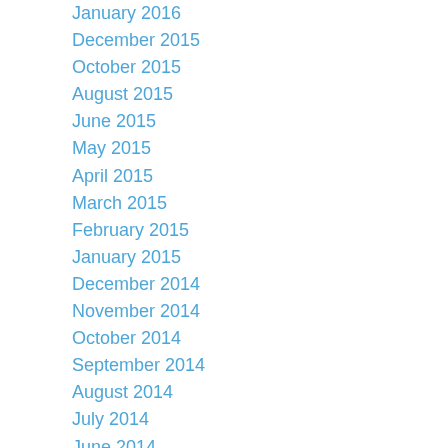January 2016
December 2015
October 2015
August 2015
June 2015
May 2015
April 2015
March 2015
February 2015
January 2015
December 2014
November 2014
October 2014
September 2014
August 2014
July 2014
June 2014
May 2014
April 2014
March 2014